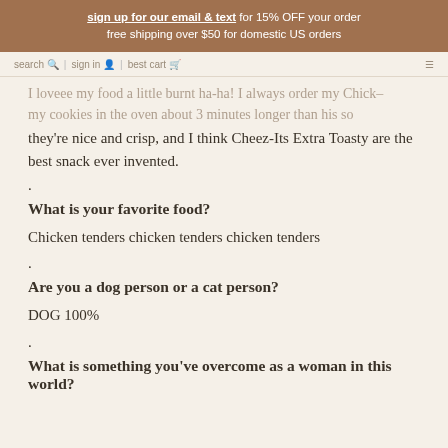sign up for our email & text for 15% OFF your order free shipping over $50 for domestic US orders
search | sign in | best cart | menu
I loveee my food a little burnt ha-ha! I always order my Chick– ... my cookies in the oven about 3 minutes longer than his so they're nice and crisp, and I think Cheez-Its Extra Toasty are the best snack ever invented.
.
What is your favorite food?
Chicken tenders chicken tenders chicken tenders
.
Are you a dog person or a cat person?
DOG 100%
.
What is something you've overcome as a woman in this world?